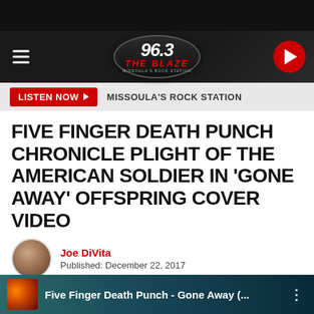[Figure (screenshot): 96.3 The Blaze radio station logo in oval shape on dark navigation bar with hamburger menu and play button]
LISTEN NOW  MISSOULA'S ROCK STATION
FIVE FINGER DEATH PUNCH CHRONICLE PLIGHT OF THE AMERICAN SOLDIER IN 'GONE AWAY' OFFSPRING COVER VIDEO
Joe DiVita
Published: December 22, 2017
Five Finger Death Punch - Gone Away (...